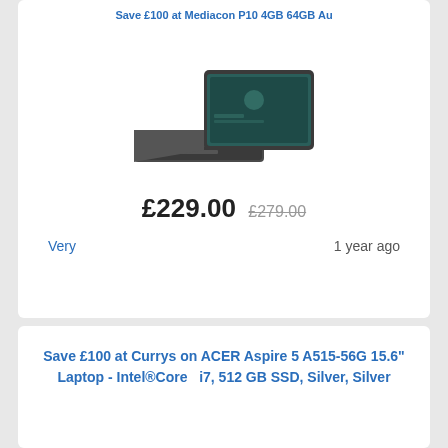Save £100 at Mediacom P10 4GB 64GB Au
[Figure (photo): Product photo of a tablet with detachable keyboard, shown from a side angle. The tablet displays a teal/dark screen and the keyboard cover is folded back.]
£229.00  £279.00
Very    1 year ago
Save £100 at Currys on ACER Aspire 5 A515-56G 15.6" Laptop - Intel®Core  i7, 512 GB SSD, Silver, Silver